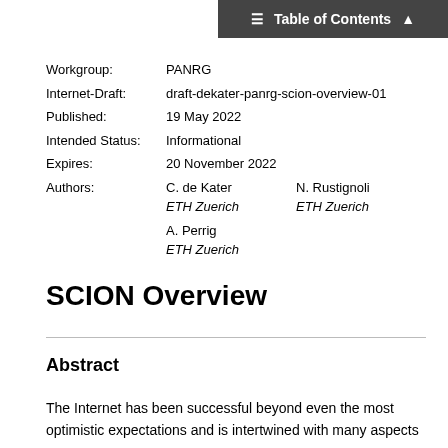Table of Contents
| Workgroup: | PANRG |
| Internet-Draft: | draft-dekater-panrg-scion-overview-01 |
| Published: | 19 May 2022 |
| Intended Status: | Informational |
| Expires: | 20 November 2022 |
| Authors: | C. de Kater   N. Rustignoli
ETH Zuerich   ETH Zuerich
A. Perrig
ETH Zuerich |
SCION Overview
Abstract
The Internet has been successful beyond even the most optimistic expectations and is intertwined with many aspects